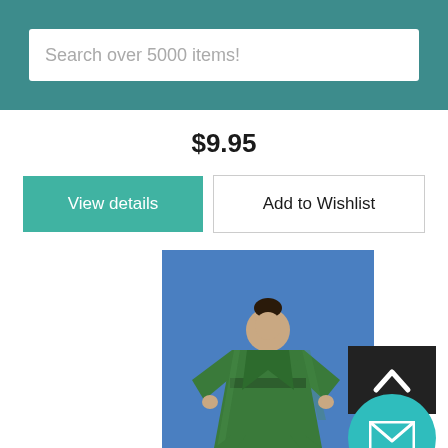Search over 5000 items!
$9.95
View details
Add to Wishlist
[Figure (photo): Woman wearing a long green silk-like robe/kimono with a belt, standing against a blue background]
[Figure (other): Back to top arrow button (dark background with upward chevron) and teal circular mail/envelope button]